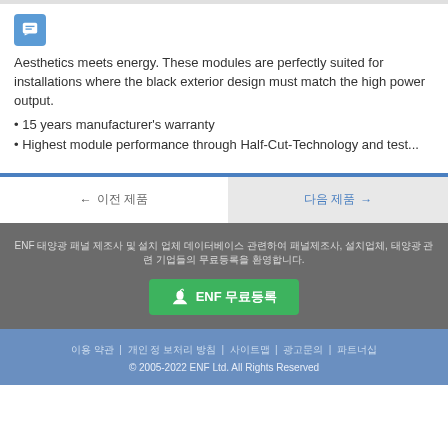[Figure (illustration): Blue chat/message icon with white speech bubble lines]
Aesthetics meets energy. These modules are perfectly suited for installations where the black exterior design must match the high power output.
15 years manufacturer's warranty
Highest module performance through Half-Cut-Technology and test...
이전 제품 (Korean navigation - previous product)
다음 제품 (Korean navigation - next product)
ENF 한국어 텍스트 (footer promotional text in Korean)
ENF 무료등록 (green button label in Korean)
이용 약관 | 개인 정 보처리 방침 | 사이트맵 | 광고문의 | 파트너십
© 2005-2022 ENF Ltd. All Rights Reserved